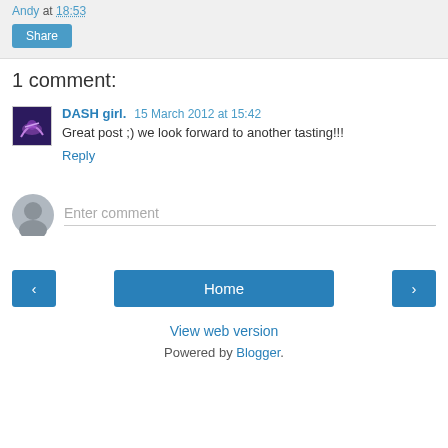Andy at 18:53
Share
1 comment:
DASH girl.  15 March 2012 at 15:42
Great post ;) we look forward to another tasting!!!
Reply
Enter comment
Home
View web version
Powered by Blogger.